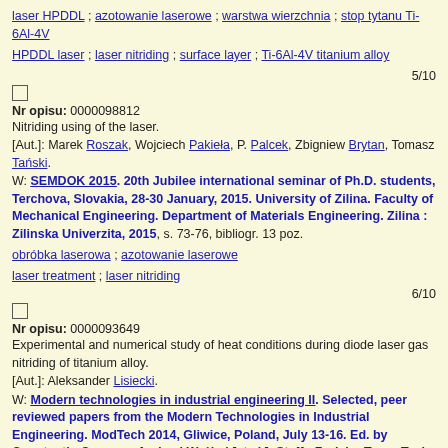laser HPDDL ; azotowanie laserowe ; warstwa wierzchnia ; stop tytanu Ti-6Al-4V
HPDDL laser ; laser nitriding ; surface layer ; Ti-6Al-4V titanium alloy
5/10
Nr opisu: 0000098812
Nitriding using of the laser.
[Aut.]: Marek Roszak, Wojciech Pakieła, P. Palcek, Zbigniew Brytan, Tomasz Tański.
W: SEMDOK 2015. 20th Jubilee international seminar of Ph.D. students, Terchova, Slovakia, 28-30 January, 2015. University of Zilina. Faculty of Mechanical Engineering. Department of Materials Engineering. Zilina : Zilinska Univerzita, 2015, s. 73-76, bibliogr. 13 poz.
obróbka laserowa ; azotowanie laserowe
laser treatment ; laser nitriding
6/10
Nr opisu: 0000093649
Experimental and numerical study of heat conditions during diode laser gas nitriding of titanium alloy.
[Aut.]: Aleksander Lisiecki.
W: Modern technologies in industrial engineering II. Selected, peer reviewed papers from the Modern Technologies in Industrial Engineering. ModTech 2014, Gliwice, Poland, July 13-16. Ed. by Constantin Carausu, Andrzej Wróbel [et al.]. Staffa-Zurich : Trans Tech Publications, 2014, s. 320-325 (Advanced Materials Research ; vol. 1036